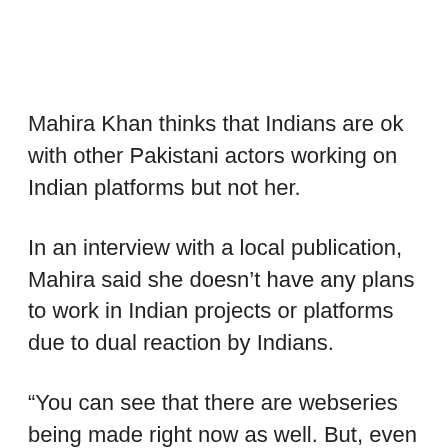Mahira Khan thinks that Indians are ok with other Pakistani actors working on Indian platforms but not her.
In an interview with a local publication, Mahira said she doesn't have any plans to work in Indian projects or platforms due to dual reaction by Indians.
“You can see that there are webseries being made right now as well. But, even when I do the smallest thing for an Indian channel, there’s such a reaction